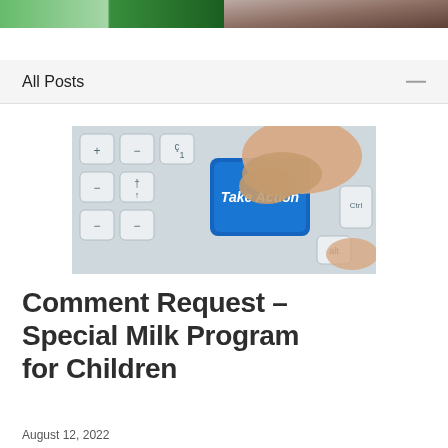All Posts
[Figure (photo): A finger pressing a blue keyboard key labeled 'Take Action' on a white keyboard, with other keys visible including Ctrl and Alt.]
Comment Request – Special Milk Program for Children
August 12, 2022